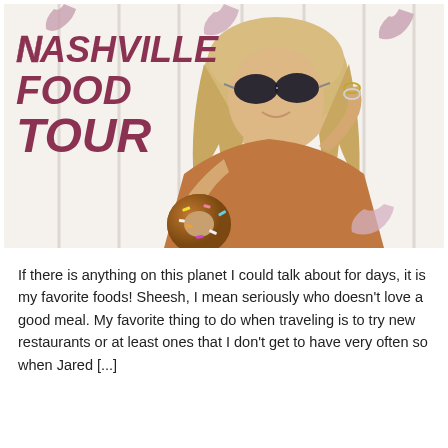[Figure (photo): A woman with long blonde hair wearing aviator sunglasses holds a chocolate sprinkle donut. She stands in front of a white wooden plank wall with a 'Nashville Food Tour' sign painted in dark rose/maroon lettering. Decorative boot illustrations appear at the corners.]
If there is anything on this planet I could talk about for days, it is my favorite foods!  Sheesh, I mean seriously who doesn't love a good meal.  My favorite thing to do when traveling is to try new restaurants or at least ones that I don't get to have very often so when Jared [...]